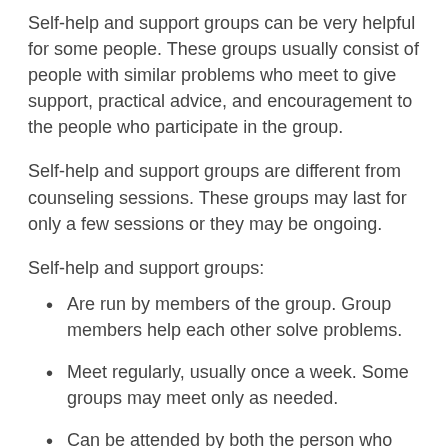Self-help and support groups can be very helpful for some people. These groups usually consist of people with similar problems who meet to give support, practical advice, and encouragement to the people who participate in the group.
Self-help and support groups are different from counseling sessions. These groups may last for only a few sessions or they may be ongoing.
Self-help and support groups:
Are run by members of the group. Group members help each other solve problems.
Meet regularly, usually once a week. Some groups may meet only as needed.
Can be attended by both the person who has the condition and his or her family and friends.